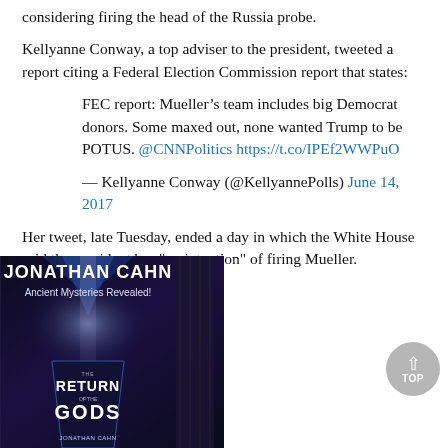considering firing the head of the Russia probe.
Kellyanne Conway, a top adviser to the president, tweeted a report citing a Federal Election Commission report that states:
FEC report: Mueller’s team includes big Democrat donors. Some maxed out, none wanted Trump to be POTUS. @CNNPolitics https://t.co/IPEf2WWPuO
— Kellyanne Conway (@KellyannePolls) June 14, 2017
Her tweet, late Tuesday, ended a day in which the White House said the president has "no intention" of firing Mueller.
[Figure (photo): Advertisement for Jonathan Cahn book 'The Return of the Gods - Ancient Mysteries Revealed!' showing temple columns with dramatic lighting and book cover]